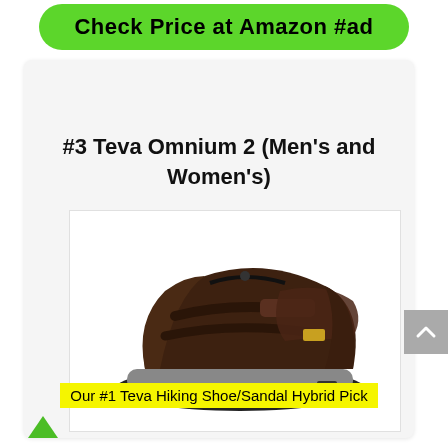Check Price at Amazon #ad
#3 Teva Omnium 2 (Men's and Women's)
[Figure (photo): Teva Omnium 2 hiking sandal in dark brown leather, shown from side angle with toe protection, velcro straps, and rugged outsole]
Our #1 Teva Hiking Shoe/Sandal Hybrid Pick